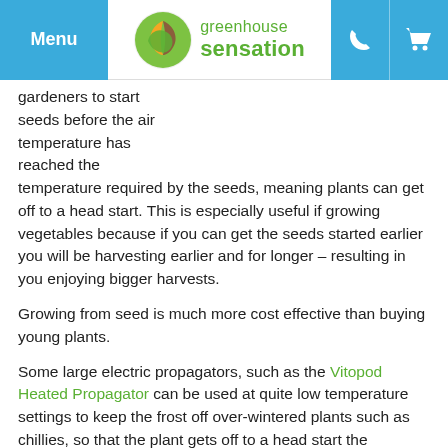Menu | greenhouse sensation
gardeners to start seeds before the air temperature has reached the temperature required by the seeds, meaning plants can get off to a head start. This is especially useful if growing vegetables because if you can get the seeds started earlier you will be harvesting earlier and for longer – resulting in you enjoying bigger harvests.
Growing from seed is much more cost effective than buying young plants.
Some large electric propagators, such as the Vitopod Heated Propagator can be used at quite low temperature settings to keep the frost off over-wintered plants such as chillies, so that the plant gets off to a head start the following spring.